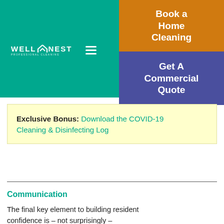[Figure (screenshot): WellNest Professional Cleaning website header with teal/green background, logo with hamburger menu, orange 'Book a Home Cleaning' button, and blue/purple 'Get A Commercial Quote' button]
Exclusive Bonus: Download the COVID-19 Cleaning & Disinfecting Log
Communication
The final key element to building resident confidence is – not surprisingly – communication.